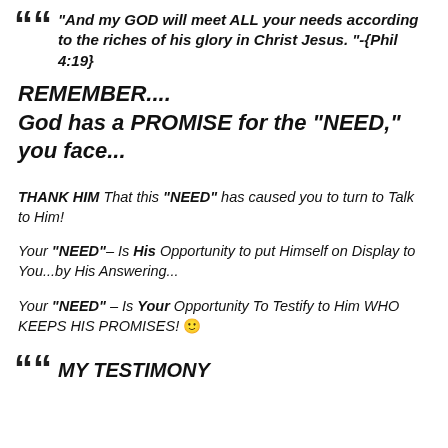“And my GOD will meet ALL your needs according to the riches of his glory in Christ Jesus. ”-{Phil 4:19}
REMEMBER.... God has a PROMISE for the “NEED,” you face...
THANK HIM That this “NEED” has caused you to turn to Talk to Him!
Your “NEED”– Is His Opportunity to put Himself on Display to You...by His Answering...
Your “NEED” – Is Your Opportunity To Testify to Him WHO KEEPS HIS PROMISES! 🙂
MY TESTIMONY